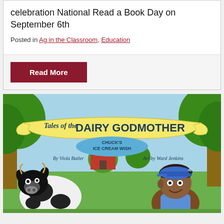celebration National Read a Book Day on September 6th
Posted in Ag in the Classroom, Education
Read More
[Figure (illustration): Book cover illustration for 'Tales of the Dairy Godmother: Chuck's Ice Cream Wish' by Viola Butler, Art by Ward Jenkins. Shows a cartoon black and white cow on the left and a young boy with a blue cap on the right, set in a green farm scene with trees and a barn in the background. A yellow ribbon banner spans the top with the title.]